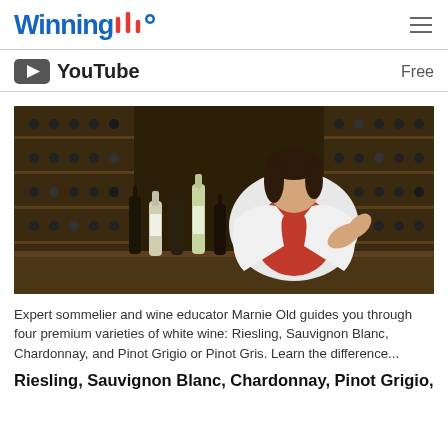Winning
YouTube   Free
[Figure (photo): Woman sommelier standing in front of wine cellar shelves with multiple wine bottles on counter, wearing white jacket and red top, gesturing with hand.]
Expert sommelier and wine educator Marnie Old guides you through four premium varieties of white wine: Riesling, Sauvignon Blanc, Chardonnay, and Pinot Grigio or Pinot Gris. Learn the difference...
Riesling, Sauvignon Blanc, Chardonnay, Pinot Grigio,